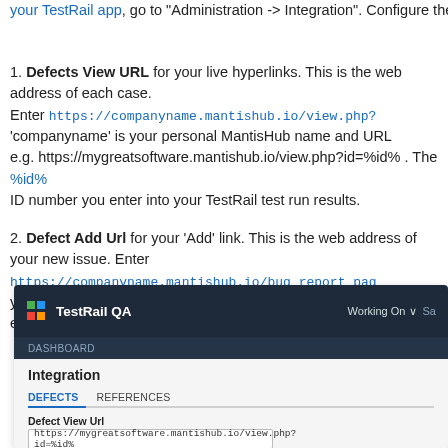your TestRail app, go to "Administration -> Integration". Configure the
1. Defects View URL for your live hyperlinks. This is the web address of each case. Enter https://companyname.mantishub.io/view.php? 'companyname' is your personal MantisHub name and URL e.g. https://mygreatsoftware.mantishub.io/view.php?id=%id% . The %id% ID number you enter into your TestRail test run results.
2. Defect Add Url for your 'Add' link. This is the web address of your new issue. Enter https://companyname.mantishub.io/bug_report_page your personal MantisHub name and URL e.g. https://mygreatsoftware.mantishub.io/bug_report_page.php
[Figure (screenshot): TestRail QA administration integration screen showing DEFECTS and REFERENCES tabs, with Defect View Url field containing https://mygreatsoftware.mantishub.io/view.php?id=%id%]